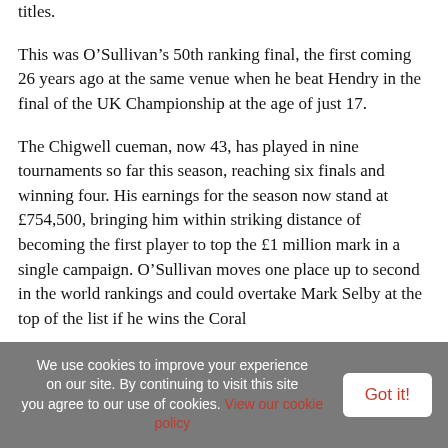titles.
This was O’Sullivan’s 50th ranking final, the first coming 26 years ago at the same venue when he beat Hendry in the final of the UK Championship at the age of just 17.
The Chigwell cueman, now 43, has played in nine tournaments so far this season, reaching six finals and winning four. His earnings for the season now stand at £754,500, bringing him within striking distance of becoming the first player to top the £1 million mark in a single campaign. O’Sullivan moves one place up to second in the world rankings and could overtake Mark Selby at the top of the list if he wins the Coral
We use cookies to improve your experience on our site. By continuing to visit this site you agree to our use of cookies. View our cookie policy